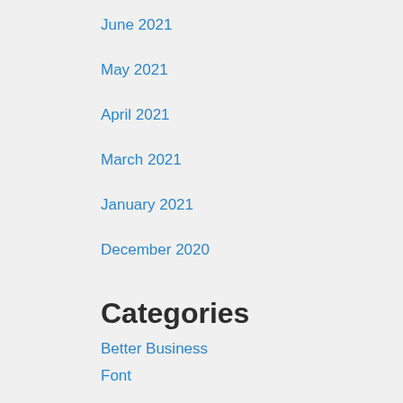June 2021
May 2021
April 2021
March 2021
January 2021
December 2020
Categories
Better Business
Font
Marketing
Menu Design
Menu Mistakes